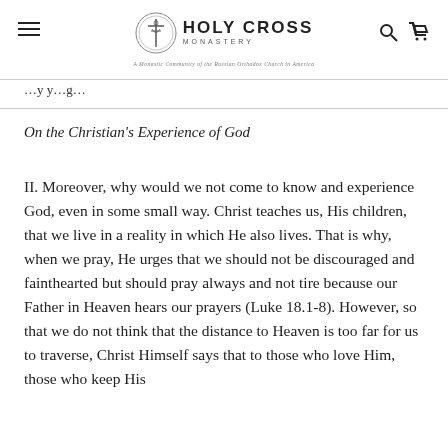Holy Cross Monastery
...y y...g...
On the Christian's Experience of God
II. Moreover, why would we not come to know and experience God, even in some small way. Christ teaches us, His children, that we live in a reality in which He also lives. That is why, when we pray, He urges that we should not be discouraged and fainthearted but should pray always and not tire because our Father in Heaven hears our prayers (Luke 18.1-8). However, so that we do not think that the distance to Heaven is too far for us to traverse, Christ Himself says that to those who love Him, those who keep His